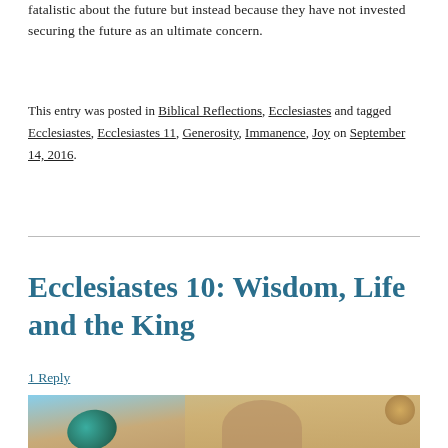fatalistic about the future but instead because they have not invested securing the future as an ultimate concern.
This entry was posted in Biblical Reflections, Ecclesiastes and tagged Ecclesiastes, Ecclesiastes 11, Generosity, Immanence, Joy on September 14, 2016.
Ecclesiastes 10: Wisdom, Life and the King
1 Reply
[Figure (photo): A painting depicting a woman in historical dress near a globe or armillary sphere, with an ornate architectural background.]